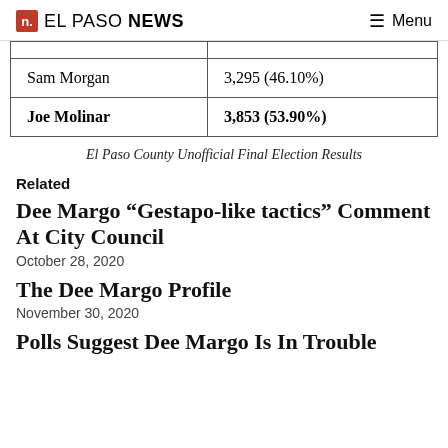n. EL PASO NEWS  ☰ Menu
| Sam Morgan | 3,295 (46.10%) |
| Joe Molinar | 3,853 (53.90%) |
El Paso County Unofficial Final Election Results
Related
Dee Margo “Gestapo-like tactics” Comment At City Council
October 28, 2020
The Dee Margo Profile
November 30, 2020
Polls Suggest Dee Margo Is In Trouble